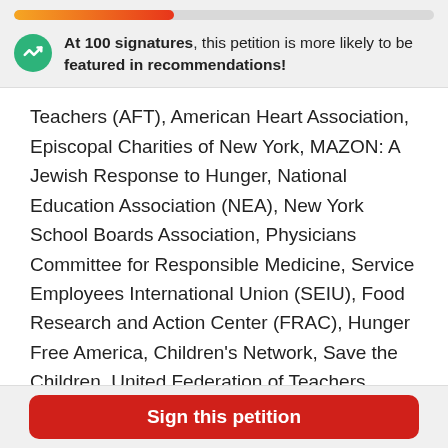[Figure (other): Progress bar with gradient fill from orange to red, showing partial completion]
At 100 signatures, this petition is more likely to be featured in recommendations!
Teachers (AFT), American Heart Association, Episcopal Charities of New York, MAZON: A Jewish Response to Hunger, National Education Association (NEA), New York School Boards Association, Physicians Committee for Responsible Medicine, Service Employees International Union (SEIU), Food Research and Action Center (FRAC), Hunger Free America, Children's Network, Save the Children, United Federation of Teachers, Yeshia Ahavath
Sign this petition